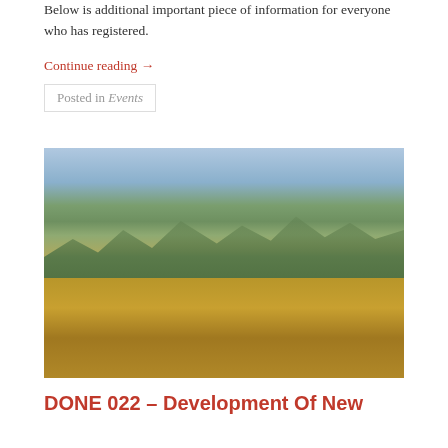Below is additional important piece of information for everyone who has registered.
Continue reading →
Posted in Events
[Figure (photo): Group photo of approximately 20 young people posing outdoors on a hillside with tall dry grass in the foreground and rolling green mountains and valley in the background. Some people are standing in back row, others kneeling in front.]
DONE 022 – Development Of New Exchanges